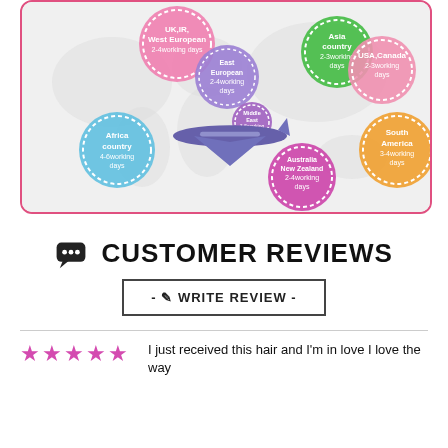[Figure (infographic): World map with colored circles showing shipping delivery times to different regions: UK/IR/West European 2-4 working days (pink), East European 2-4 working days (purple), Middle East 3-5 working days (small purple), Asia country 2-3 working days (green), USA/Canada 2-3 working days (pink), Africa country 4-6 working days (light blue), Australia/New Zealand 2-4 working days (magenta/pink), South America 3-4 working days (orange), with a FedEx airplane image.]
CUSTOMER REVIEWS
- WRITE REVIEW -
I just received this hair and I'm in love I love the way